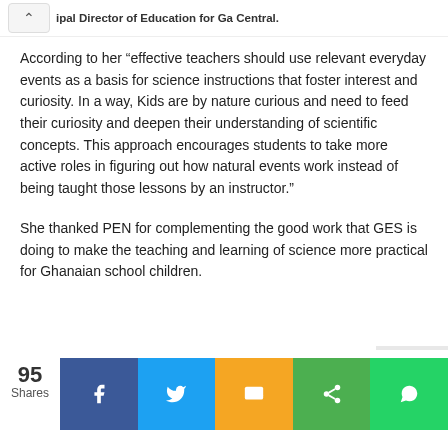ipal Director of Education for Ga Central.
According to her “effective teachers should use relevant everyday events as a basis for science instructions that foster interest and curiosity. In a way, Kids are by nature curious and need to feed their curiosity and deepen their understanding of scientific concepts. This approach encourages students to take more active roles in figuring out how natural events work instead of being taught those lessons by an instructor.”
She thanked PEN for complementing the good work that GES is doing to make the teaching and learning of science more practical for Ghanaian school children.
[Figure (screenshot): Social share bar with 95 Shares count and five share buttons: Facebook (blue), Twitter (light blue), SMS (yellow/orange), Share (green), WhatsApp (green)]